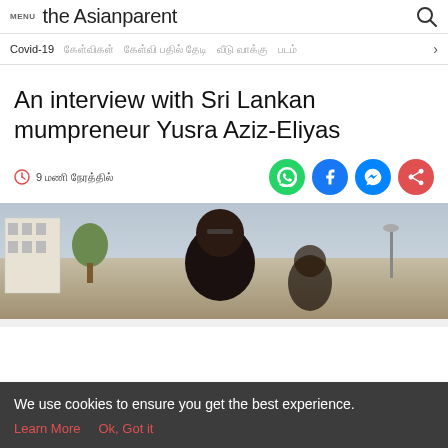MENU the Asianparent
Covid-19  [nav items in foreign script]
An interview with Sri Lankan mumpreneur Yusra Aziz-Eliyas
9 [time in foreign script]
[Figure (photo): Photo of a woman with dark hair and sunglasses on her head, outdoors with buildings and sky in background]
We use cookies to ensure you get the best experience. Learn More  Ok, Got it